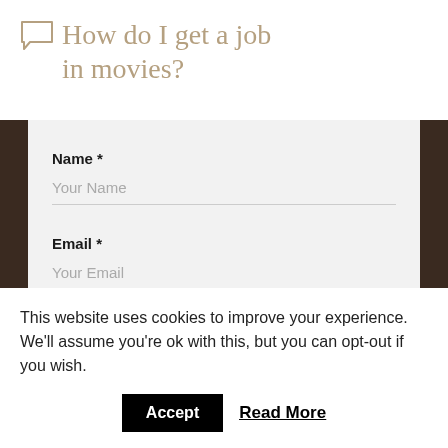How do I get a job in movies?
[Figure (screenshot): Web form with dark sidebar elements showing Name and Email fields with placeholder text and underline styling on a light gray background]
This website uses cookies to improve your experience. We'll assume you're ok with this, but you can opt-out if you wish.
Accept
Read More